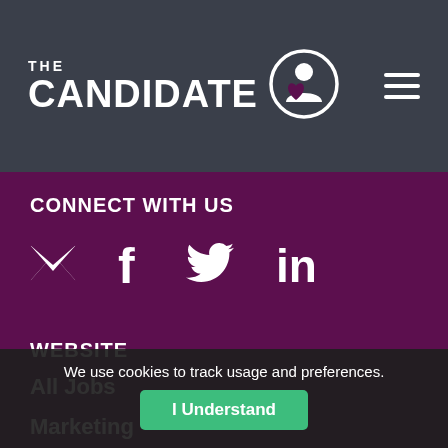THE CANDIDATE
CONNECT WITH US
[Figure (infographic): Social media icons: email envelope, Facebook f, Twitter bird, LinkedIn in]
WEBSITE
All Jobs
Marketing
Digital
Creative
Analytics (partially visible)
We use cookies to track usage and preferences.
I Understand